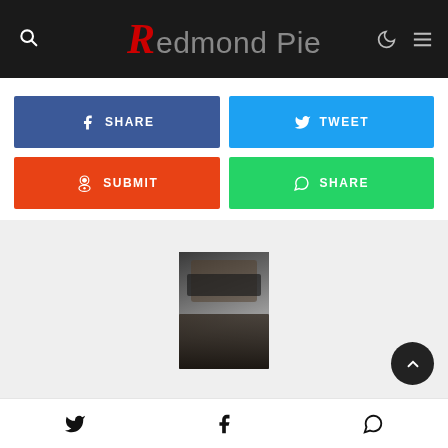Redmond Pie
[Figure (screenshot): Social share buttons: Facebook Share (blue), Twitter Tweet (light blue), Reddit Submit (orange-red), WhatsApp Share (green)]
[Figure (photo): Author profile photo: man with sunglasses and beard]
Twitter | Facebook | WhatsApp icons bottom bar